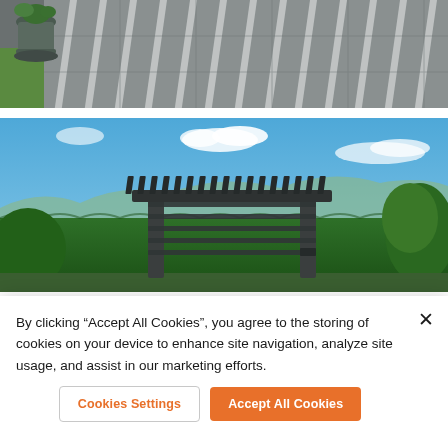[Figure (photo): Top portion of an outdoor patio photo showing dark stone/tile flooring with light strips/slats and a dark plant pot on the left side with grass visible]
[Figure (photo): Photo of a modern dark grey/black aluminum pergola with louvered roof panels, set in a garden against a bright blue sky with white clouds, green hedges and trees in the background]
By clicking “Accept All Cookies”, you agree to the storing of cookies on your device to enhance site navigation, analyze site usage, and assist in our marketing efforts.
Cookies Settings
Accept All Cookies